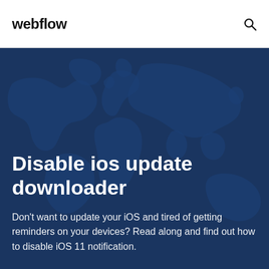webflow
Disable ios update downloader
Don't want to update your iOS and tired of getting reminders on your devices? Read along and find out how to disable iOS 11 notification.